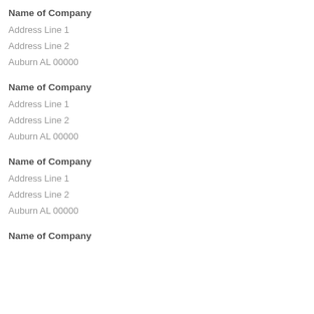Name of Company
Address Line 1
Address Line 2
Auburn AL 00000
Name of Company
Address Line 1
Address Line 2
Auburn AL 00000
Name of Company
Address Line 1
Address Line 2
Auburn AL 00000
Name of Company